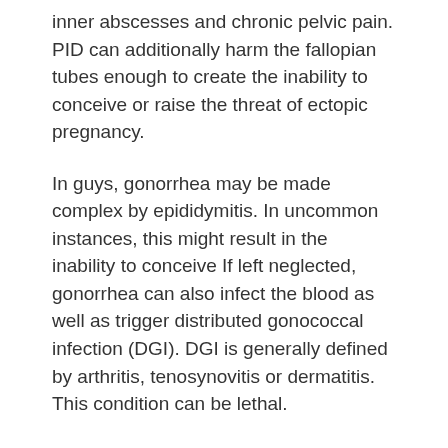inner abscesses and chronic pelvic pain. PID can additionally harm the fallopian tubes enough to create the inability to conceive or raise the threat of ectopic pregnancy.
In guys, gonorrhea may be made complex by epididymitis. In uncommon instances, this might result in the inability to conceive If left neglected, gonorrhea can also infect the blood as well as trigger distributed gonococcal infection (DGI). DGI is generally defined by arthritis, tenosynovitis or dermatitis. This condition can be lethal.
Is Gonorrhea Transmittable?